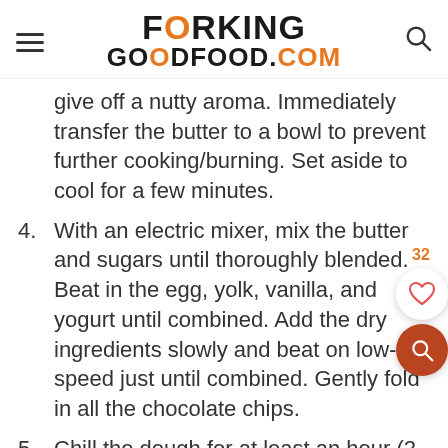FORKING GOODFOOD.COM
give off a nutty aroma. Immediately transfer the butter to a bowl to prevent further cooking/burning. Set aside to cool for a few minutes.
4. With an electric mixer, mix the butter and sugars until thoroughly blended. Beat in the egg, yolk, vanilla, and yogurt until combined. Add the dry ingredients slowly and beat on low-speed just until combined. Gently fold in all the chocolate chips.
5. Chill the dough for at least an hour (2 hours is better) in the refrigerator.
6. Once dough is chilled measure about 1 ½